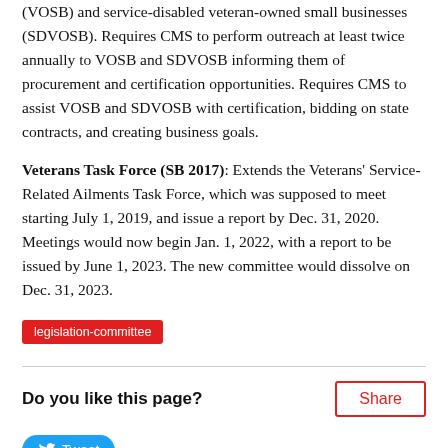(VOSB) and service-disabled veteran-owned small businesses (SDVOSB). Requires CMS to perform outreach at least twice annually to VOSB and SDVOSB informing them of procurement and certification opportunities. Requires CMS to assist VOSB and SDVOSB with certification, bidding on state contracts, and creating business goals.
Veterans Task Force (SB 2017): Extends the Veterans' Service-Related Ailments Task Force, which was supposed to meet starting July 1, 2019, and issue a report by Dec. 31, 2020. Meetings would now begin Jan. 1, 2022, with a report to be issued by June 1, 2023. The new committee would dissolve on Dec. 31, 2023.
legislation-committee
Do you like this page?